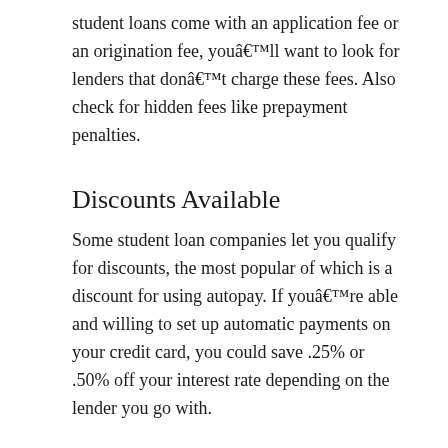student loans come with an application fee or an origination fee, youâll want to look for lenders that donât charge these fees. Also check for hidden fees like prepayment penalties.
Discounts Available
Some student loan companies let you qualify for discounts, the most popular of which is a discount for using autopay. If youâre able and willing to set up automatic payments on your credit card, you could save .25% or .50% off your interest rate depending on the lender you go with.
Rate Check Option
Many of the top student loan refinancing companies on